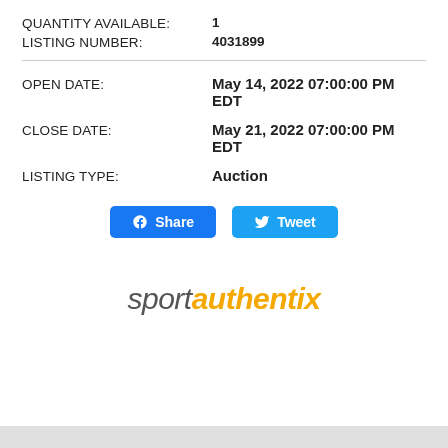QUANTITY AVAILABLE: 1
LISTING NUMBER: 4031899
OPEN DATE: May 14, 2022 07:00:00 PM EDT
CLOSE DATE: May 21, 2022 07:00:00 PM EDT
LISTING TYPE: Auction
[Figure (other): Share and Tweet social media buttons]
[Figure (logo): sportauthentix logo in gray and yellow italic text]